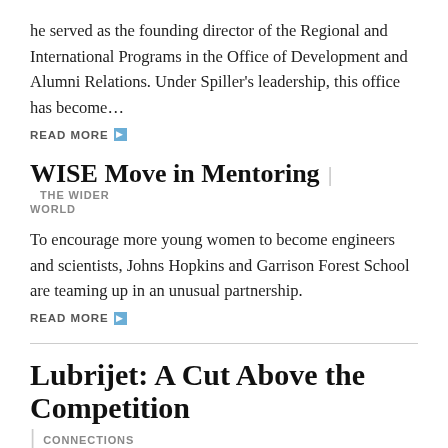he served as the founding director of the Regional and International Programs in the Office of Development and Alumni Relations. Under Spiller's leadership, this office has become...
READ MORE
WISE Move in Mentoring
THE WIDER WORLD
To encourage more young women to become engineers and scientists, Johns Hopkins and Garrison Forest School are teaming up in an unusual partnership.
READ MORE
Lubrijet: A Cut Above the Competition
CONNECTIONS